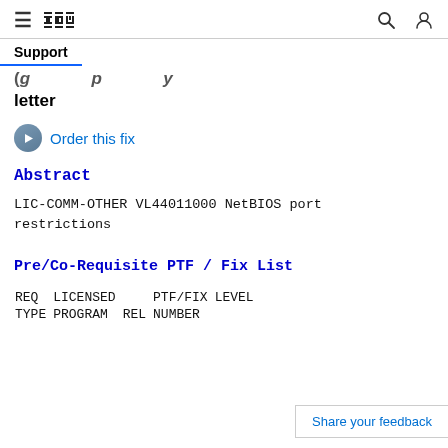IBM Support
(... (partially visible) ...) letter
Order this fix
Abstract
LIC-COMM-OTHER VL44011000 NetBIOS port restrictions
Pre/Co-Requisite PTF / Fix List
| REQ TYPE | LICENSED PROGRAM | REL | PTF/FIX NUMBER | LEVEL |
| --- | --- | --- | --- | --- |